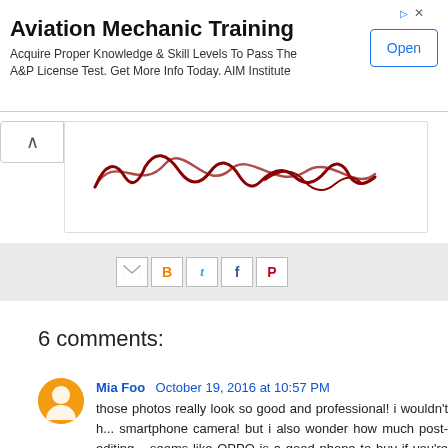[Figure (screenshot): Advertisement banner for Aviation Mechanic Training by AIM Institute with an Open button]
[Figure (illustration): Handwritten cursive signature in dark red ink on white background with a collapse arrow button]
[Figure (screenshot): Social sharing icons bar: Gmail, Blogger, Twitter, Facebook, Pinterest]
6 comments:
Mia Foo  October 19, 2016 at 10:57 PM
those photos really look so good and professional! i wouldn't h... smartphone camera! but i also wonder how much post-editing... seems like OPPO is a good phone to buy if you're always taking... might consider it, since samsung (my favourite) has been explodin...
Reply